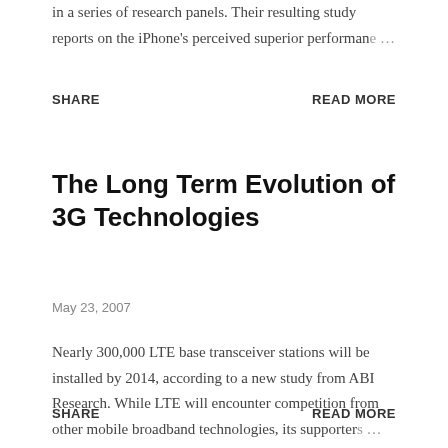in a series of research panels. Their resulting study reports on the iPhone's perceived superior performance …
SHARE                                                READ MORE
The Long Term Evolution of 3G Technologies
May 23, 2007
Nearly 300,000 LTE base transceiver stations will be installed by 2014, according to a new study from ABI Research. While LTE will encounter competition from other mobile broadband technologies, its supporters …
SHARE                                                READ MORE